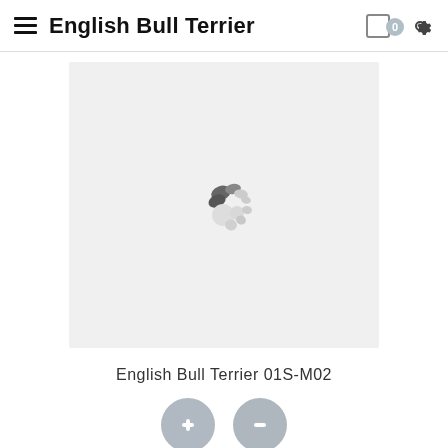English Bull Terrier
[Figure (photo): Loading spinner/placeholder image (animated loading dots) in a light gray image area]
English Bull Terrier 01S-M02